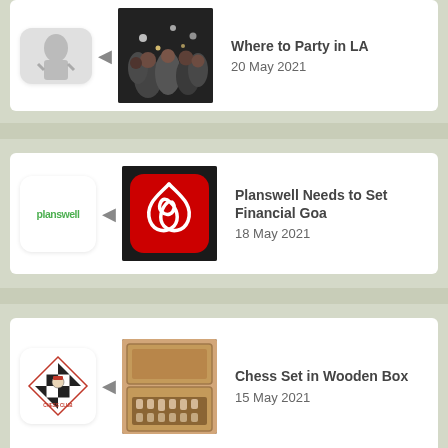[Figure (screenshot): Partial card at top: party crowd image thumbnail, title 'Where to Party in LA', date '20 May 2021']
[Figure (screenshot): Card with Planswell logo, Adobe Acrobat icon thumbnail, title 'Planswell Needs to Set Financial Goa...', date '18 May 2021']
[Figure (screenshot): Card with chess club logo, chess set in wooden box thumbnail, title 'Chess Set in Wooden Box', date '15 May 2021']